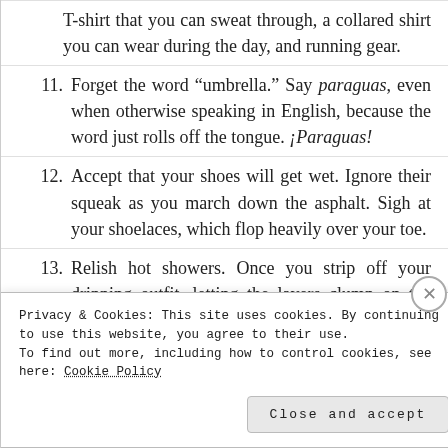T-shirt that you can sweat through, a collared shirt you can wear during the day, and running gear.
11. Forget the word “umbrella.” Say paraguas, even when otherwise speaking in English, because the word just rolls off the tongue. ¡Paraguas!
12. Accept that your shoes will get wet. Ignore their squeak as you march down the asphalt. Sigh at your shoelaces, which flop heavily over your toe.
13. Relish hot showers. Once you strip off your dripping outfit, letting the layers clump on the bathroom tile, the steamy stream from your
Privacy & Cookies: This site uses cookies. By continuing to use this website, you agree to their use.
To find out more, including how to control cookies, see here: Cookie Policy
Close and accept